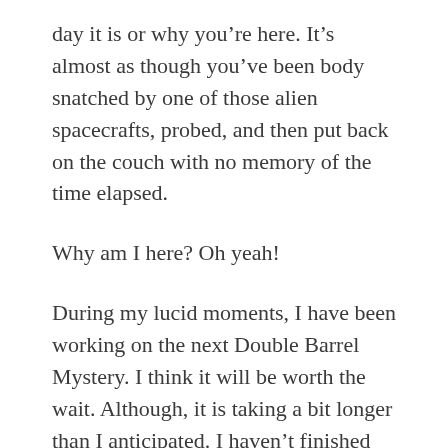day it is or why you’re here. It’s almost as though you’ve been body snatched by one of those alien spacecrafts, probed, and then put back on the couch with no memory of the time elapsed.
Why am I here? Oh yeah!
During my lucid moments, I have been working on the next Double Barrel Mystery. I think it will be worth the wait. Although, it is taking a bit longer than I anticipated. I haven’t finished the last season of… just kidding. I am diligently writing Blake and Shelby’s next case right this minute. Well, maybe not right this minute, because I’m writing this blog post first. But as